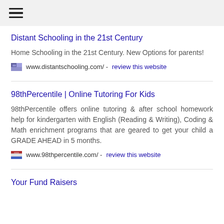≡
Distant Schooling in the 21st Century
Home Schooling in the 21st Century. New Options for parents!
www.distantschooling.com/ - review this website
98thPercentile | Online Tutoring For Kids
98thPercentile offers online tutoring & after school homework help for kindergarten with English (Reading & Writing), Coding & Math enrichment programs that are geared to get your child a GRADE AHEAD in 5 months.
www.98thpercentile.com/ - review this website
Your Fund Raisers